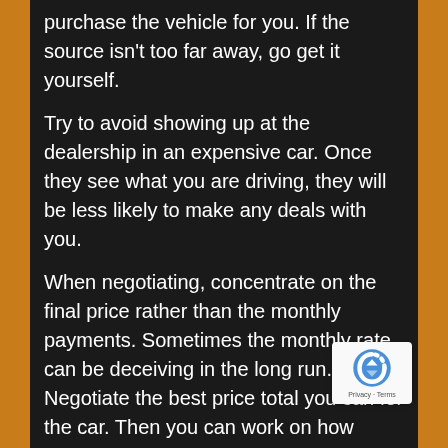purchase the vehicle for you. If the source isn't too far away, go get it yourself.
Try to avoid showing up at the dealership in an expensive car. Once they see what you are driving, they will be less likely to make any deals with you.
When negotiating, concentrate on the final price rather than the monthly payments. Sometimes the monthly rate can be deceiving in the long run. Negotiate the best price total you can for the car. Then you can work on how much it will cost monthly.
Test drive a car before buying it. While you may know which car you want, a test is imperative. Driving the car yourself is the best way to get a feel for it. You may notice trouble with the brakes, misfiring, sticking or slipping gears, or a number of other factors that the dealer didn't tell you about.
Don't pay full price! The list price is certainly not set in